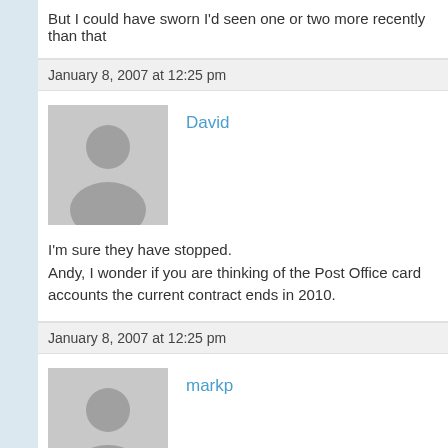But I could have sworn I'd seen one or two more recently than that
January 8, 2007 at 12:25 pm
David
I'm sure they have stopped.
Andy, I wonder if you are thinking of the Post Office card accounts the current contract ends in 2010.
January 8, 2007 at 12:25 pm
markp
Rare, but I understand that there are still a few in circulation. Not th